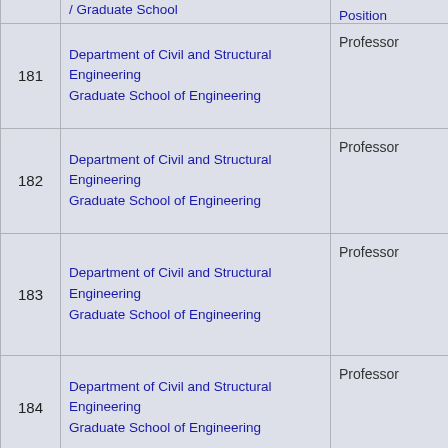| # | Faculty / Graduate School | Position | Name |
| --- | --- | --- | --- |
| 181 | Department of Civil and Structural Engineering
Graduate School of Engineering | Professor | GU... |
| 182 | Department of Civil and Structural Engineering
Graduate School of Engineering | Professor | TAK... |
| 183 | Department of Civil and Structural Engineering
Graduate School of Engineering | Professor | Yas... |
| 184 | Department of Civil and Structural Engineering
Graduate School of Engineering | Professor | YO... |
| 185 | Department of Civil and Structural Engineering
Graduate School of Engineering | Associate Professor | Mit... |